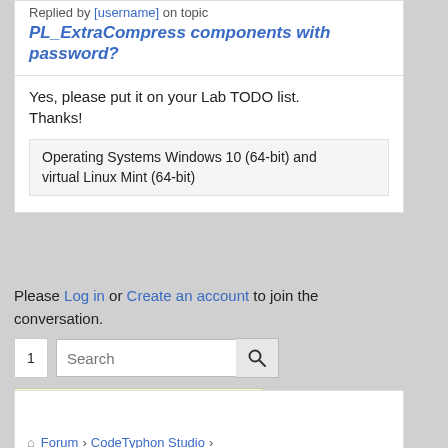Replied by [name] on topic PL_ExtraCompress components with password?
PL_ExtraCompress components with password?
Yes, please put it on your Lab TODO list. Thanks!
Operating Systems Windows 10 (64-bit) and virtual Linux Mint (64-bit)
Please Log in or Create an account to join the conversation.
Search
- - Algorithms Development
Forum > CodeTyphon Studio > CodeTyphon Studio Components and Libraries > Algorithms Development > PL_ExtraCompress components with password?